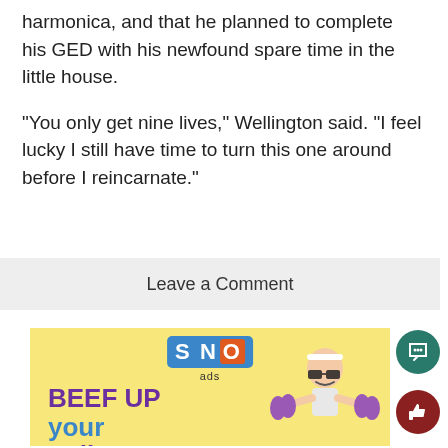harmonica, and that he planned to complete his GED with his newfound spare time in the little house.
“You only get nine lives,” Wellington said. “I feel lucky I still have time to turn this one around before I reincarnate.”
Leave a Comment
[Figure (illustration): SNO ads advertisement banner with text 'BEEF UP your online' and a cartoon person holding purple dumbbells on a yellow background]